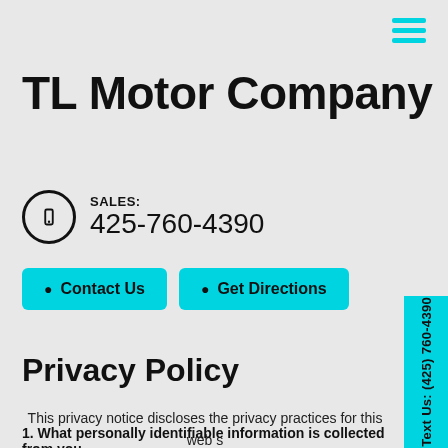[Figure (other): Hamburger menu icon with three cyan horizontal lines in top-right corner]
TL Motor Company
SALES: 425-760-4390
Contact Us | Get Directions
Privacy Policy
This privacy notice discloses the privacy practices for this web site. This privacy notice applies solely to information collected by this web site. It will notify you of the following:
1. What personally identifiable information is collected from you
[Figure (other): Cyan vertical sidebar on right edge reading 'Text Us: (425) 760-4390' in rotated text]